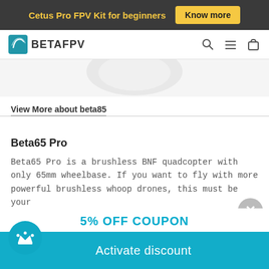Cetus Pro FPV Kit for beginners  Know more
[Figure (logo): BetaFPV logo with blue wing icon and BETAFPV text, navigation bar with search, menu and cart icons]
[Figure (photo): Partial product image, white drone on light grey background, cropped]
View More about beta85
Beta65 Pro
Beta65 Pro is a brushless BNF quadcopter with only 65mm wheelbase. If you want to fly with more powerful brushless whoop drones, this must be your
[Figure (infographic): 5% OFF COUPON popup with teal Activate discount button and crown icon circle]
5% OFF COUPON
Activate discount